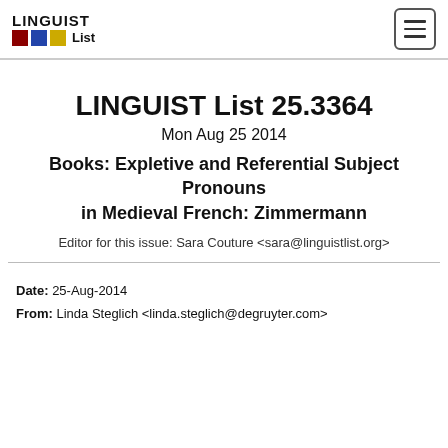LINGUIST List
LINGUIST List 25.3364
Mon Aug 25 2014
Books: Expletive and Referential Subject Pronouns in Medieval French: Zimmermann
Editor for this issue: Sara Couture <sara@linguistlist.org>
Date: 25-Aug-2014
From: Linda Steglich <linda.steglich@degruyter.com>